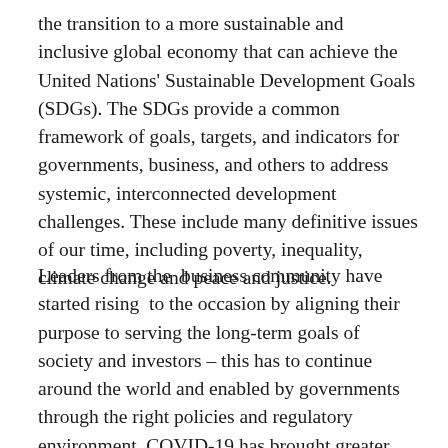the transition to a more sustainable and inclusive global economy that can achieve the United Nations' Sustainable Development Goals (SDGs). The SDGs provide a common framework of goals, targets, and indicators for governments, business, and others to address systemic, interconnected development challenges. These include many definitive issues of our time, including poverty, inequality, climate change and peace and justice.
Leaders from the business community have started rising to the occasion by aligning their purpose to serving the long-term goals of society and investors – this has to continue around the world and enabled by governments through the right policies and regulatory environment. COVID-19 has brought greater urgency given it is a huge setback for sustainable development. Significant parts of the SDG agenda are in danger of becoming out of reach with a global recession looming